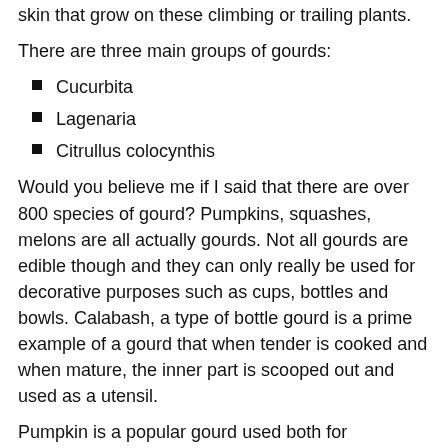skin that grow on these climbing or trailing plants.
There are three main groups of gourds:
Cucurbita
Lagenaria
Citrullus colocynthis
Would you believe me if I said that there are over 800 species of gourd? Pumpkins, squashes, melons are all actually gourds. Not all gourds are edible though and they can only really be used for decorative purposes such as cups, bottles and bowls. Calabash, a type of bottle gourd is a prime example of a gourd that when tender is cooked and when mature, the inner part is scooped out and used as a utensil.
Pumpkin is a popular gourd used both for decoration at